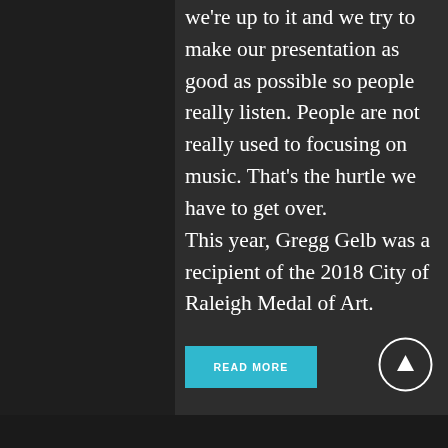we're up to it and we try to make our presentation as good as possible so people really listen. People are not really used to focusing on music. That's the hurtle we have to get over. This year, Gregg Gelb was a recipient of the 2018 City of Raleigh Medal of Art.
READ MORE